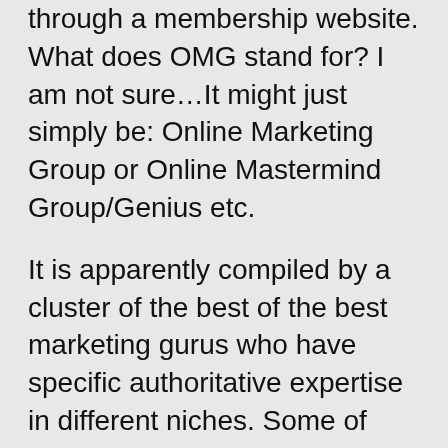through a membership website. What does OMG stand for? I am not sure…It might just simply be: Online Marketing Group or Online Mastermind Group/Genius etc.
It is apparently compiled by a cluster of the best of the best marketing gurus who have specific authoritative expertise in different niches. Some of them are experts at SEO. Others are experts at free traffic generation. Other fields of expertise at member's fingertips include lead generation, paid traffic, social media marketing, video marketing etc. Connected to this membership is a private, closed Facebook group. I was able to get an acceptance into this group within a few minutes of attempting to join it (which I highly recommend).